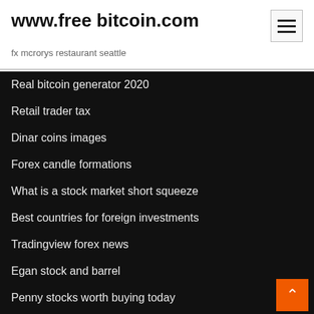www.free bitcoin.com
fx mcrorys restaurant seattle
Real bitcoin generator 2020
Retail trader tax
Dinar coins images
Forex candle formations
What is a stock market short squeeze
Best countries for foreign investments
Tradingview forex news
Egan stock and barrel
Penny stocks worth buying today